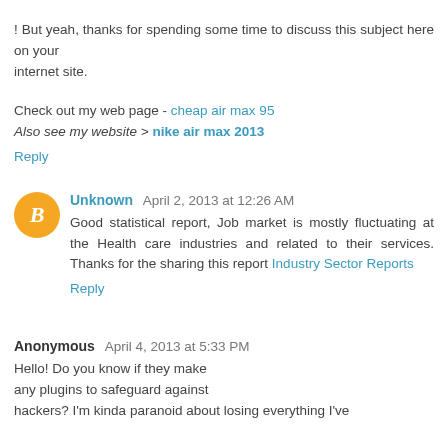! But yeah, thanks for spending some time to discuss this subject here on your internet site.
Check out my web page - cheap air max 95
Also see my website > nike air max 2013
Reply
Unknown  April 2, 2013 at 12:26 AM
Good statistical report, Job market is mostly fluctuating at the Health care industries and related to their services. Thanks for the sharing this report Industry Sector Reports
Reply
Anonymous  April 4, 2013 at 5:33 PM
Hello! Do you know if they make any plugins to safeguard against hackers? I'm kinda paranoid about losing everything I've